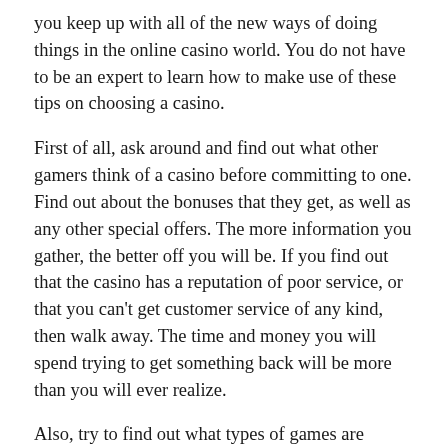you keep up with all of the new ways of doing things in the online casino world. You do not have to be an expert to learn how to make use of these tips on choosing a casino.
First of all, ask around and find out what other gamers think of a casino before committing to one. Find out about the bonuses that they get, as well as any other special offers. The more information you gather, the better off you will be. If you find out that the casino has a reputation of poor service, or that you can't get customer service of any kind, then walk away. The time and money you will spend trying to get something back will be more than you will ever realize.
Also, try to find out what types of games are offered in a casino. If you like slots or roulette, then look for a casino that offers those games. You might even get a recommendation from a buddy or a casino employee.
Once you have determined where you want to go, it is time to start hunting. Most people choose casinos based on the location. This is because the more convenient it is, the more